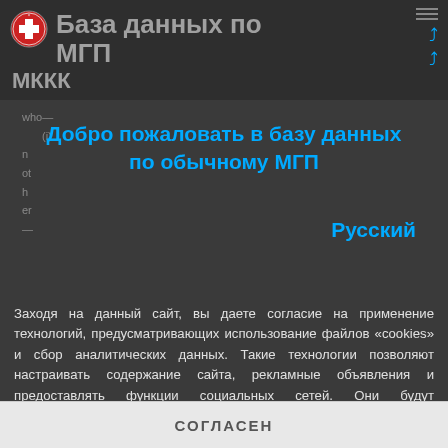База данных по МГП — МККК
Добро пожаловать в базу данных по обычному МГП
Русский
Заходя на данный сайт, вы даете согласие на применение технологий, предусматривающих использование файлов «cookies» и сбор аналитических данных. Такие технологии позволяют настраивать содержание сайта, рекламные объявления и предоставлять функции социальных сетей. Они будут использоваться для анализа посещений сайта, что позволит нам понять предпочтения посетителей и улучшить предоставляемые услуги. Узнать больше
СОГЛАСЕН